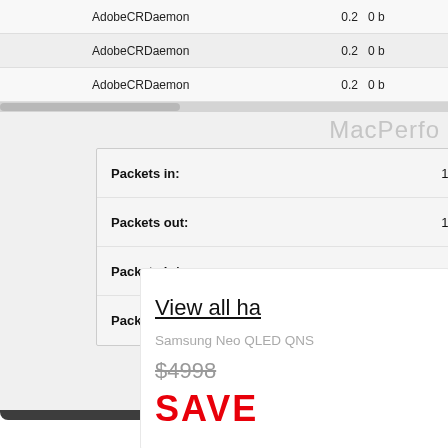[Figure (screenshot): macOS Activity Monitor or MacPerf tool screenshot showing process list with AdobeCRDaemon processes (CPU 0.2, memory 0 b) and network statistics panel showing Packets in: 134, Packets out: 142, Packets in/sec: 0, Packets out/sec: 0, with a network graph showing blue and red spike lines]
With 2015 iMac 5K run…
[Figure (screenshot): Advertisement or product listing showing 'View all ha…' link, Samsung Neo QLED QN... product name, $4998 price with strikethrough, and SAVE text in red]